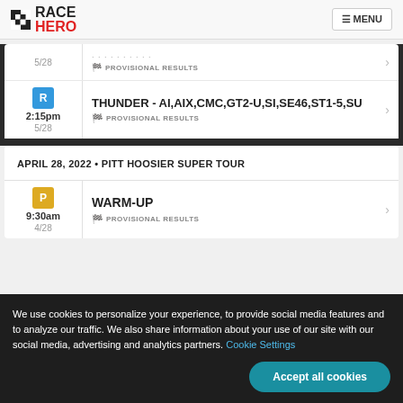RaceHero — MENU
5/28 — PROVISIONAL RESULTS
R 2:15pm 5/28 — THUNDER - AI,AIX,CMC,GT2-U,SI,SE46,ST1-5,SU — PROVISIONAL RESULTS
APRIL 28, 2022 • PITT HOOSIER SUPER TOUR
P 9:30am 4/28 — WARM-UP — PROVISIONAL RESULTS
We use cookies to personalize your experience, to provide social media features and to analyze our traffic. We also share information about your use of our site with our social media, advertising and analytics partners. Cookie Settings
Accept all cookies